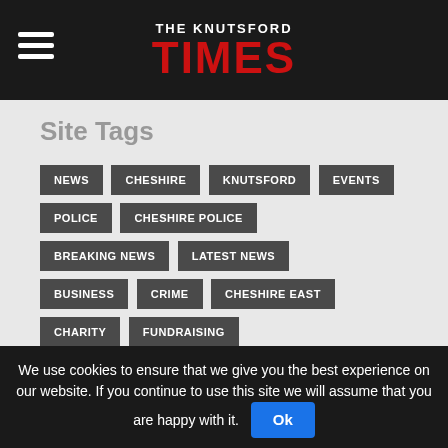THE KNUTSFORD TIMES
Site Tags
NEWS
CHESHIRE
KNUTSFORD
EVENTS
POLICE
CHESHIRE POLICE
BREAKING NEWS
LATEST NEWS
BUSINESS
CRIME
CHESHIRE EAST
CHARITY
FUNDRAISING
CHESHIRE EAST COUNCIL
TATTON PARK
DAYS OUT
MACCLESFIELD
HEALTH
TRAVEL
COMMUNITY
TRAFFIC
MANCHESTER AIRPORT
We use cookies to ensure that we give you the best experience on our website. If you continue to use this site we will assume that you are happy with it. Ok